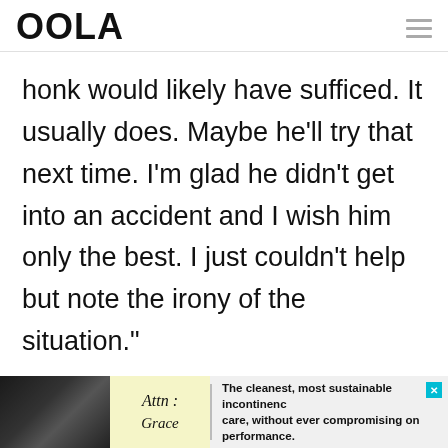OOLA
honk would likely have sufficed. It usually does. Maybe he'll try that next time. I'm glad he didn't get into an accident and I wish him only the best. I just couldn't help but note the irony of the situation."
[Figure (infographic): Advertisement banner at the bottom: image of person on left, 'Attn : Grace' logo in yellow area, text reading 'The cleanest, most sustainable incontinence care, without ever compromising on performance.']